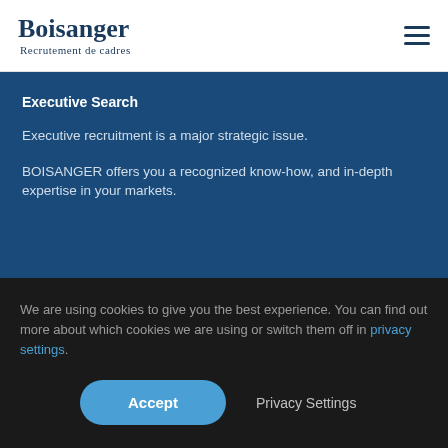Boisanger Recrutement de cadres
Executive Search
Executive recruitment is a major strategic issue.
BOISANGER offers you a recognized know-how, and in-depth expertise in your markets.
We are using cookies to give you the best experience. You can find out more about which cookies we are using or switch them off in privacy settings.
Accept
Privacy Settings